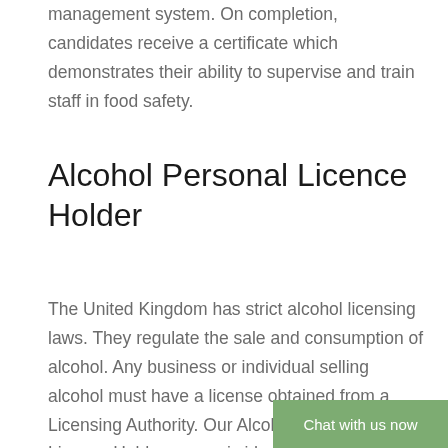management system. On completion, candidates receive a certificate which demonstrates their ability to supervise and train staff in food safety.
Alcohol Personal Licence Holder
The United Kingdom has strict alcohol licensing laws. They regulate the sale and consumption of alcohol. Any business or individual selling alcohol must have a license obtained from a Licensing Authority. Our Alcohol Personal Licence Holder course is ideal for organisations with customers in the hospitality